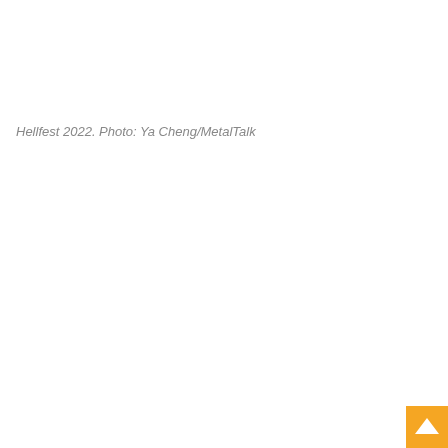Hellfest 2022. Photo: Ya Cheng/MetalTalk
[Figure (other): Back-to-top button arrow in orange/amber square, positioned bottom-right corner of page]